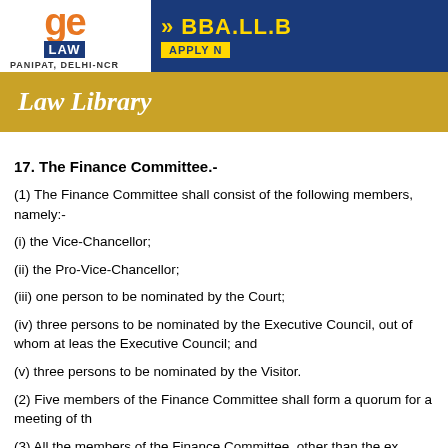[Figure (logo): GE Institute of Law banner with orange logo, LAW badge, PANIPAT DELHI-NCR text, and BBA.LL.B / APPLY NOW section on navy blue background]
Law Library
17. The Finance Committee.-
(1) The Finance Committee shall consist of the following members, namely:-
(i) the Vice-Chancellor;
(ii) the Pro-Vice-Chancellor;
(iii) one person to be nominated by the Court;
(iv) three persons to be nominated by the Executive Council, out of whom at least one shall not be a member of the Executive Council; and
(v) three persons to be nominated by the Visitor.
(2) Five members of the Finance Committee shall form a quorum for a meeting of the Committee.
(3) All the members of the Finance Committee, other than the ex officio members, shall hold office for a term of three years.
(4) A member of the Finance Committee shall have the right to record a minute of dissent on any decision of the Finance Committee.